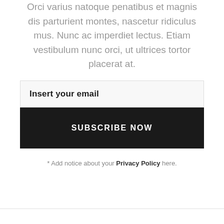Orci varius natoque penatibus et magnis dis parturient montes, nascetur ridiculus mus. Nunc ac imperdiet lectus. Etiam vestibulum nunc orci, ut ultrices tortor placerat at.
Insert your email
SUBSCRIBE NOW
* Add notice about your Privacy Policy here.